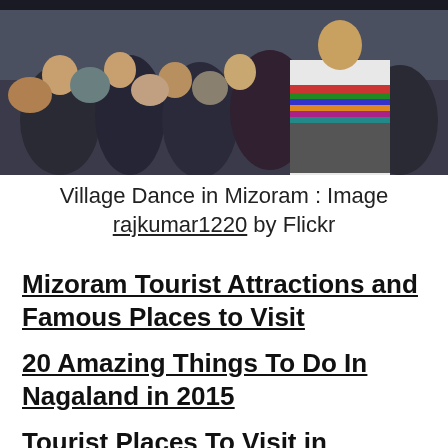[Figure (photo): Group of people at a village dance event in Mizoram, with a person in traditional colorful striped costume in the foreground.]
Village Dance in Mizoram : Image rajkumar1220 by Flickr
Mizoram Tourist Attractions and Famous Places to Visit
20 Amazing Things To Do In Nagaland in 2015
Tourist Places To Visit in Odisha(Orrisa)
5 Top Punjab Tourist Places to Visit